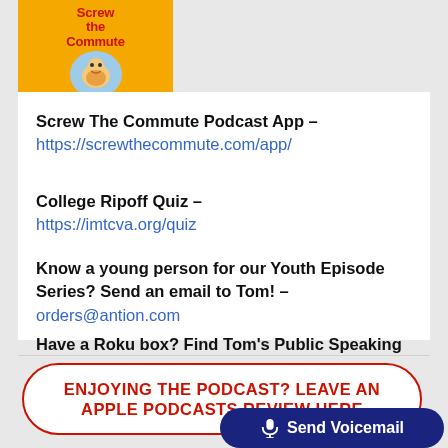[Figure (logo): Screw The Commute podcast app logo on yellow/orange background with cartoon character]
Screw The Commute Podcast App – https://screwthecommute.com/app/
College Ripoff Quiz – https://imtcva.org/quiz
Know a young person for our Youth Episode Series? Send an email to Tom! – orders@antion.com
Have a Roku box? Find Tom's Public Speaking Channel there! –
ENJOYING THE PODCAST? LEAVE AN APPLE PODCASTS REVIEW HERE
Send Voicemail